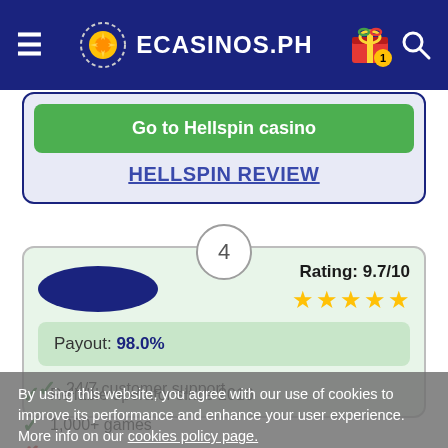ECASINOS.PH
Go to Hellspin casino
HELLSPIN REVIEW
4
Rating: 9.7/10 ★★★★★
Payout: 98.0%
✓ 24/7 customer support
✓ Reliable operator since 2016
✓ 1,000+ games
✗ Cryptocurrency not accepted
By using this website, you agree with our use of cookies to improve its performance and enhance your user experience. More info on our cookies policy page.
OK